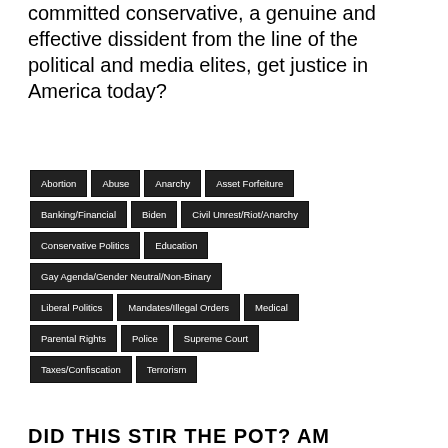committed conservative, a genuine and effective dissident from the line of the political and media elites, get justice in America today?
Abortion
Abuse
Anarchy
Asset Forfeiture
Banking/Financial
Biden
Civil Unrest/Riot/Anarchy
Conservative Politics
Education
Gay Agenda/Gender Neutral/Non-Binary
Liberal Politics
Mandates/Illegal Orders
Medical
Parental Rights
Police
Supreme Court
Taxes/Confiscation
Terrorism
DID THIS STIR THE POT? AM...